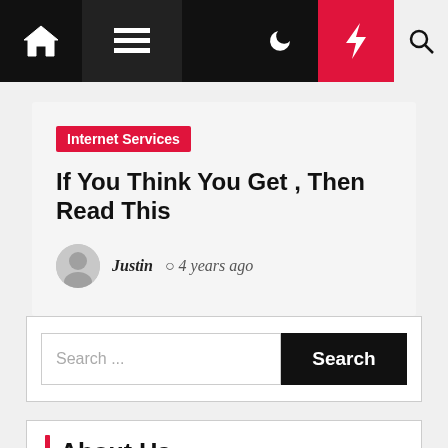Navigation bar with home, menu, moon, bolt, and search icons
Internet Services
If You Think You Get , Then Read This
Justin  4 years ago
Search ...
About Us
Contact us